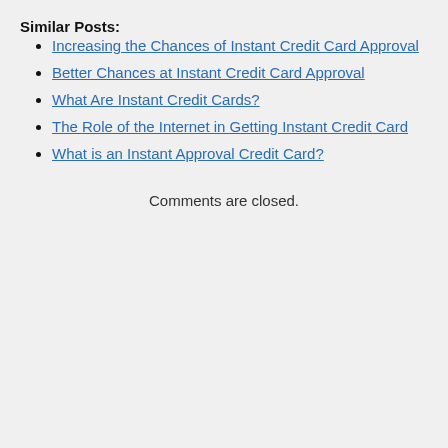Similar Posts:
Increasing the Chances of Instant Credit Card Approval
Better Chances at Instant Credit Card Approval
What Are Instant Credit Cards?
The Role of the Internet in Getting Instant Credit Card
What is an Instant Approval Credit Card?
Comments are closed.